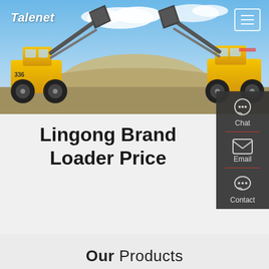[Figure (photo): Hero banner showing two large yellow Lingong brand front-end loaders facing each other with raised buckets against a blue sky and sand/dirt background.]
Talenet
Lingong Brand Loader Price
[Figure (infographic): Right-side contact panel with Chat, Email, and Contact buttons with icons on dark background.]
Our Products